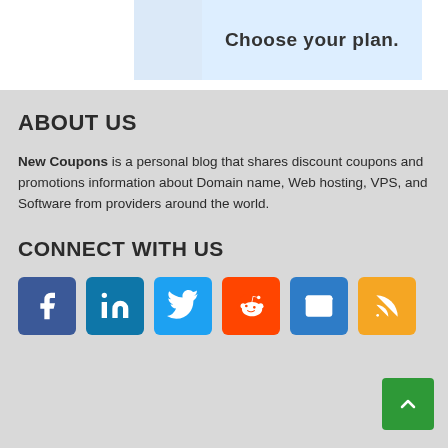[Figure (screenshot): Partial banner showing 'Choose your plan.' text on a light blue background]
ABOUT US
New Coupons is a personal blog that shares discount coupons and promotions information about Domain name, Web hosting, VPS, and Software from providers around the world.
CONNECT WITH US
[Figure (infographic): Row of social media icon buttons: Facebook, LinkedIn, Twitter, Reddit, Email, RSS]